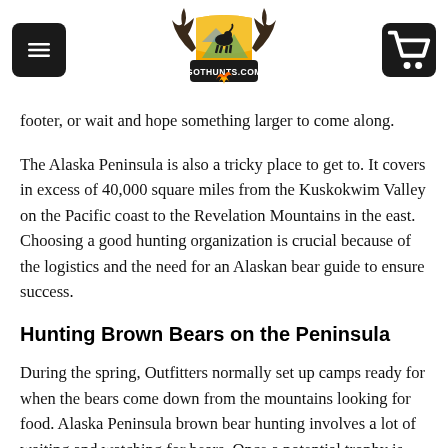GOTHUNTS.COM
footer, or wait and hope something larger to come along.
The Alaska Peninsula is also a tricky place to get to. It covers in excess of 40,000 square miles from the Kuskokwim Valley on the Pacific coast to the Revelation Mountains in the east. Choosing a good hunting organization is crucial because of the logistics and the need for an Alaskan bear guide to ensure success.
Hunting Brown Bears on the Peninsula
During the spring, Outfitters normally set up camps ready for when the bears come down from the mountains looking for food. Alaska Peninsula brown bear hunting involves a lot of waiting and watching for bears. Once a potential trophy is spotted, the bear is stalked and